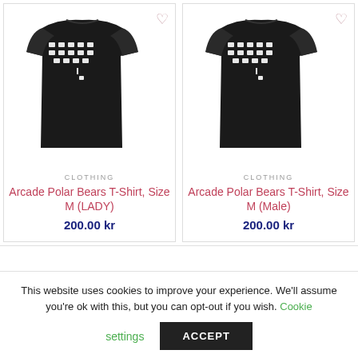[Figure (photo): Black t-shirt with Arcade Polar Bears pixel art design (Space Invaders style), lady size M]
CLOTHING
Arcade Polar Bears T-Shirt, Size M (LADY)
200.00 kr
[Figure (photo): Black t-shirt with Arcade Polar Bears pixel art design (Space Invaders style), male size M]
CLOTHING
Arcade Polar Bears T-Shirt, Size M (Male)
200.00 kr
This website uses cookies to improve your experience. We'll assume you're ok with this, but you can opt-out if you wish. Cookie settings
ACCEPT